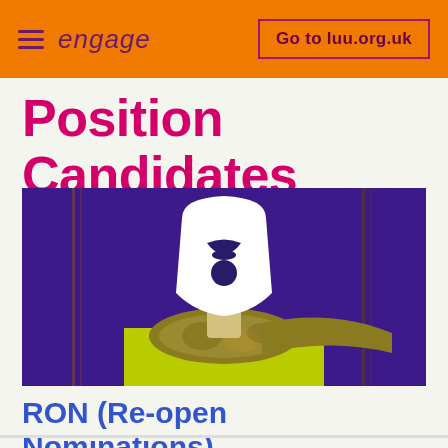≡ engage | Go to luu.org.uk
Position Candidates
[Figure (illustration): Stylized graphic of a person wearing a yellow-green top and patterned scarf, with a white blank/anonymous face shape (no features), set against a dark purple background with vertical stripe accents.]
RON (Re-open Nominations)